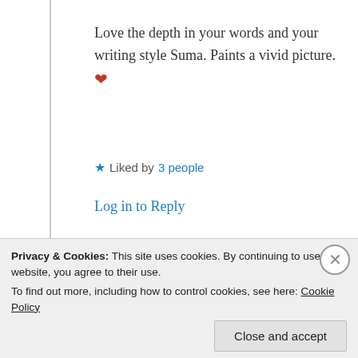Love the depth in your words and your writing style Suma. Paints a vivid picture. ❤
★ Liked by 3 people
Log in to Reply
Suma Reddy
26th Aug 2021 at 11:53 am
Privacy & Cookies: This site uses cookies. By continuing to use this website, you agree to their use. To find out more, including how to control cookies, see here: Cookie Policy
Close and accept